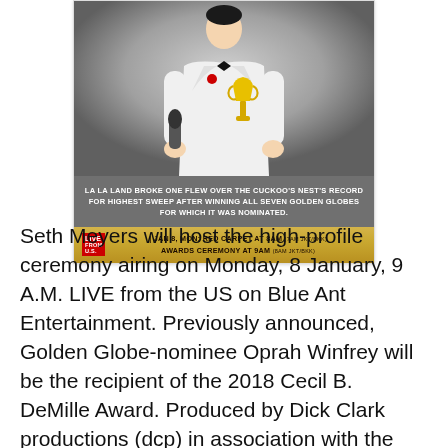[Figure (photo): Promotional image for Golden Globe Awards. Shows a man in a white tuxedo jacket holding a trophy, on a grey gradient background. Overlay text reads: 'LA LA LAND BROKE ONE FLEW OVER THE CUCKOO'S NEST'S RECORD FOR HIGHEST SWEEP AFTER WINNING ALL SEVEN GOLDEN GLOBES FOR WHICH IT WAS NOMINATED.' Gold banner at bottom: 'LIVE FROM U.S. | JAN 8, MON: RED CARPET AT 8AM (7AM JKT/BKK) AWARDS CEREMONY AT 9AM (8AM JKT/BKK)']
Seth Meyers will host the high-profile ceremony airing on Monday, 8 January, 9 A.M. LIVE from the US on Blue Ant Entertainment. Previously announced, Golden Globe-nominee Oprah Winfrey will be the recipient of the 2018 Cecil B. DeMille Award. Produced by Dick Clark productions (dcp) in association with the HFPA, the Golden Globe Awards are viewed in more than 236 countries worldwide and are one of the few awards ceremonies to include both